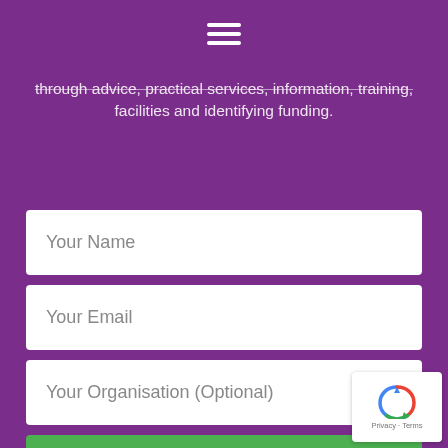☰ (hamburger menu icon)
through advice, practical services, information, training, facilities and identifying funding.
Your Name
Your Email
Your Organisation (Optional)
✉ SIGN UP
[Figure (other): reCAPTCHA badge with refresh icon and Privacy - Terms links]